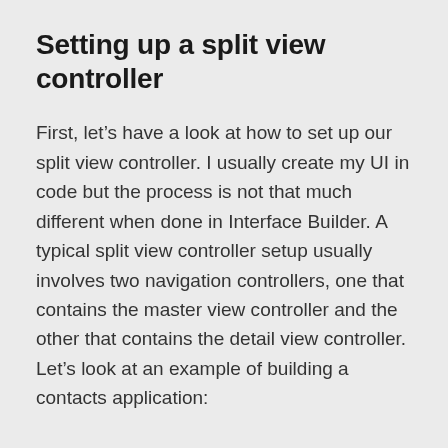Setting up a split view controller
First, let’s have a look at how to set up our split view controller. I usually create my UI in code but the process is not that much different when done in Interface Builder. A typical split view controller setup usually involves two navigation controllers, one that contains the master view controller and the other that contains the detail view controller. Let’s look at an example of building a contacts application: